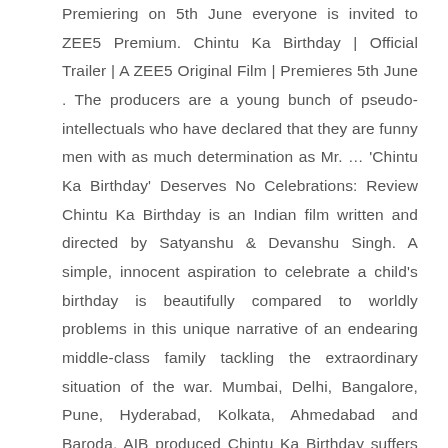Premiering on 5th June everyone is invited to ZEE5 Premium. Chintu Ka Birthday | Official Trailer | A ZEE5 Original Film | Premieres 5th June . The producers are a young bunch of pseudo-intellectuals who have declared that they are funny men with as much determination as Mr. … 'Chintu Ka Birthday' Deserves No Celebrations: Review Chintu Ka Birthday is an Indian film written and directed by Satyanshu & Devanshu Singh. A simple, innocent aspiration to celebrate a child's birthday is beautifully compared to worldly problems in this unique narrative of an endearing middle-class family tackling the extraordinary situation of the war. Mumbai, Delhi, Bangalore, Pune, Hyderabad, Kolkata, Ahmedabad and Baroda. AIB produced Chintu Ka Birthday suffers after a few revelations regarding their role in sexual harassment